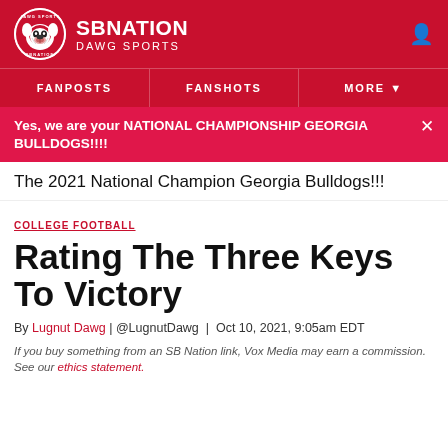SB NATION DAWG SPORTS
FANPOSTS | FANSHOTS | MORE
Yes, we are your NATIONAL CHAMPIONSHIP GEORGIA BULLDOGS!!!!
The 2021 National Champion Georgia Bulldogs!!!
COLLEGE FOOTBALL
Rating The Three Keys To Victory
By Lugnut Dawg | @LugnutDawg | Oct 10, 2021, 9:05am EDT
If you buy something from an SB Nation link, Vox Media may earn a commission. See our ethics statement.